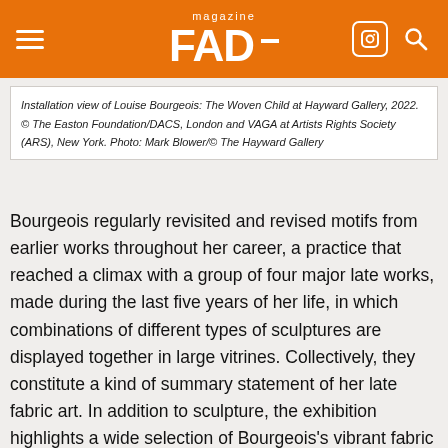FAD magazine
Installation view of Louise Bourgeois: The Woven Child at Hayward Gallery, 2022. © The Easton Foundation/DACS, London and VAGA at Artists Rights Society (ARS), New York. Photo: Mark Blower/© The Hayward Gallery
Bourgeois regularly revisited and revised motifs from earlier works throughout her career, a practice that reached a climax with a group of four major late works, made during the last five years of her life, in which combinations of different types of sculptures are displayed together in large vitrines. Collectively, they constitute a kind of summary statement of her late fabric art. In addition to sculpture, the exhibition highlights a wide selection of Bourgeois's vibrant fabric drawings, books, prints and collages, including collages which feature large-scale clock faces that she produced during the final year of her life.